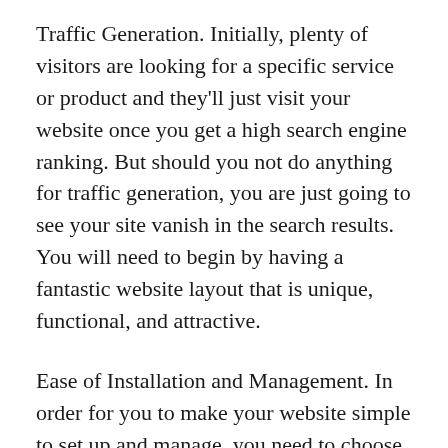Traffic Generation. Initially, plenty of visitors are looking for a specific service or product and they'll just visit your website once you get a high search engine ranking. But should you not do anything for traffic generation, you are just going to see your site vanish in the search results. You will need to begin by having a fantastic website layout that is unique, functional, and attractive.
Ease of Installation and Management. In order for you to make your website simple to set up and manage, you need to choose Thrive themes that are easy to install, quick to install and very easy to control. There are lots of templates available for you to choose from but the good thing about those themes is that they come in both offline and online versions, and...